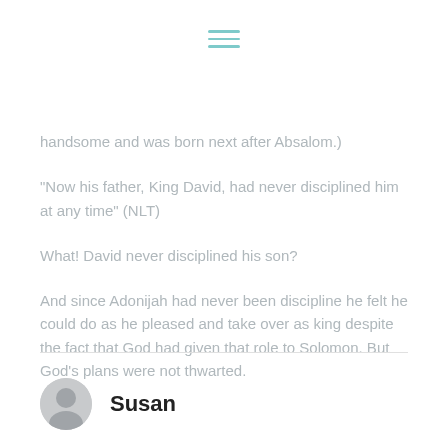[Figure (other): Hamburger menu icon with three teal horizontal lines]
handsome and was born next after Absalom.)
"Now his father, King David, had never disciplined him at any time" (NLT)
What! David never disciplined his son?
And since Adonijah had never been discipline he felt he could do as he pleased and take over as king despite the fact that God had given that role to Solomon. But God's plans were not thwarted.
Susan